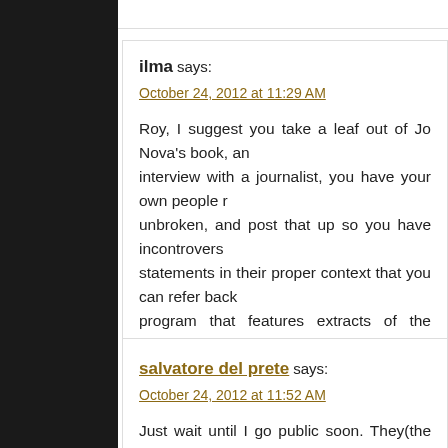ilma says:
October 24, 2012 at 11:29 AM
Roy, I suggest you take a leaf out of Jo Nova's book, and when you have an interview with a journalist, you have your own people record it, unbroken, and post that up so you have incontrovertible evidence of your statements in their proper context that you can refer back to if there is a program that features extracts of the interview. Jo Nova did this when interviewed by Anna Rose, and it was made a pre-condition of the interview that the interviewer had to sign up to.
Reply
salvatore del prete says:
October 24, 2012 at 11:52 AM
Just wait until I go public soon. They(the other side ) will s